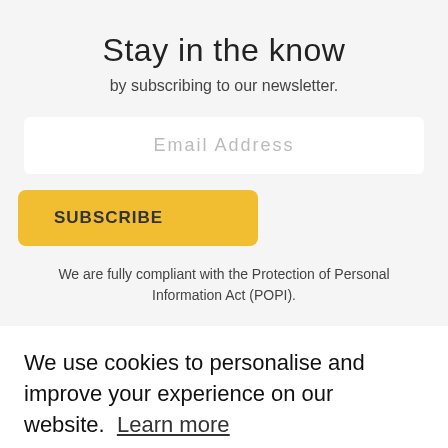Stay in the know
by subscribing to our newsletter.
Email Address
SUBSCRIBE
We are fully compliant with the Protection of Personal Information Act (POPI).
We use cookies to personalise and improve your experience on our website. Learn more
Got it!